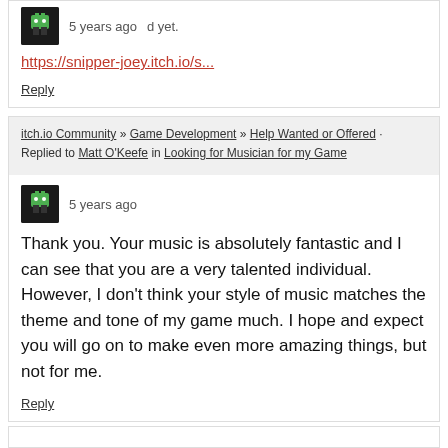5 years ago · d yet.
https://snipper-joey.itch.io/s...
Reply
itch.io Community » Game Development » Help Wanted or Offered · Replied to Matt O'Keefe in Looking for Musician for my Game
5 years ago
Thank you. Your music is absolutely fantastic and I can see that you are a very talented individual. However, I don't think your style of music matches the theme and tone of my game much. I hope and expect you will go on to make even more amazing things, but not for me.
Reply